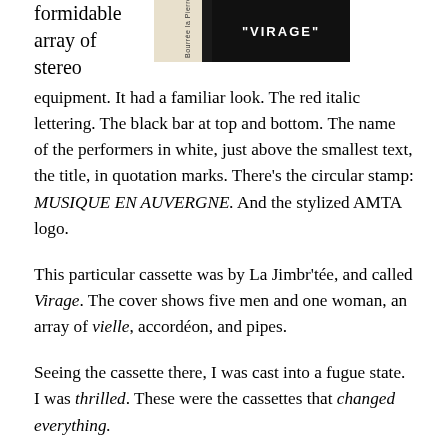[Figure (illustration): Partial view of a cassette tape cover with a dark background showing the text 'VIRAGE' in white, with a cream/white spine area showing text rotated vertically.]
formidable array of stereo equipment. It had a familiar look. The red italic lettering. The black bar at top and bottom. The name of the performers in white, just above the smallest text, the title, in quotation marks. There's the circular stamp: MUSIQUE EN AUVERGNE. And the stylized AMTA logo.
This particular cassette was by La Jimbr'tée, and called Virage. The cover shows five men and one woman, an array of vielle, accordéon, and pipes.
Seeing the cassette there, I was cast into a fugue state. I was thrilled. These were the cassettes that changed everything.
I believe I have mentioned before, the role that AMTA